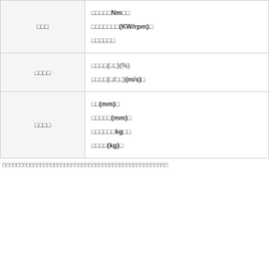|  |  |
| --- | --- |
| □□□ | □□□□□Nm□□
□□□□□□□(KW/rpm)□
□□□□□□ |
| □□□□ | □□□□(□□)(%)
□□□□(□/□□)(m/s)□ |
| □□□□ | □□(mm)□
□□□□□(mm)□
□□□□□□kg□□
□□□□(kg)□ |
□□□□□□□□□□□□□□□□□□□□□□□□□□□□□□□□□□□□□□□□□□□□□□□□